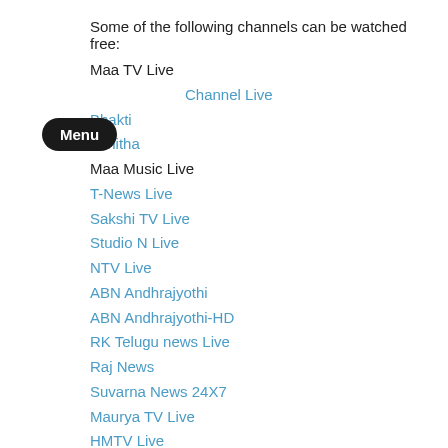Some of the following channels can be watched free:
Maa TV Live
Channel Live
Bhakti
Vanitha
Maa Music Live
T-News Live
Sakshi TV Live
Studio N Live
NTV Live
ABN Andhrajyothi
ABN Andhrajyothi-HD
RK Telugu news Live
Raj News
Suvarna News 24X7
Maurya TV Live
HMTV Live
TV5 Live